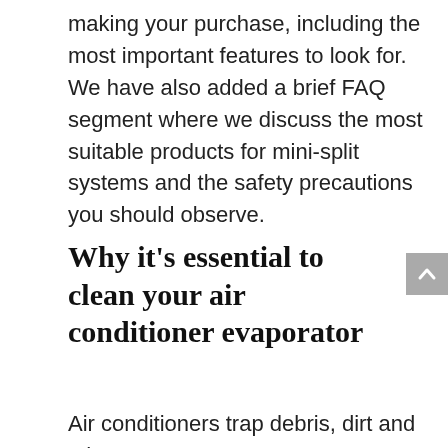making your purchase, including the most important features to look for. We have also added a brief FAQ segment where we discuss the most suitable products for mini-split systems and the safety precautions you should observe.
Why it’s essential to clean your air conditioner evaporator
Air conditioners trap debris, dirt and other